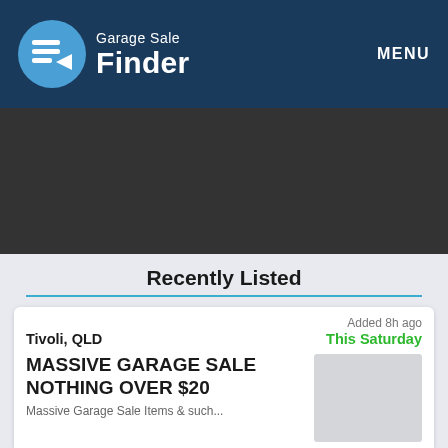Garage Sale Finder  MENU
[Figure (screenshot): Dark gray banner area (advertisement or map placeholder)]
Recently Listed
Added 8h ago
Tivoli, QLD
This Saturday
MASSIVE GARAGE SALE NOTHING OVER $20
Massive Garage Sale Items & such...